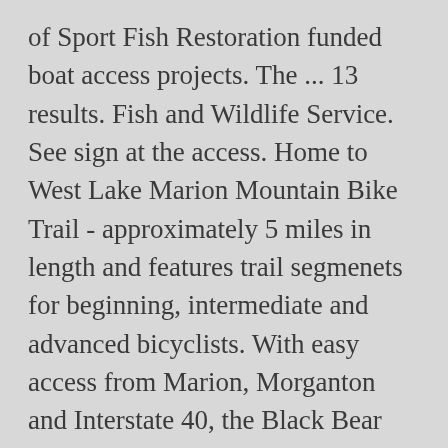of Sport Fish Restoration funded boat access projects. The ... 13 results. Fish and Wildlife Service. See sign at the access. Home to West Lake Marion Mountain Bike Trail - approximately 5 miles in length and features trail segmenets for beginning, intermediate and advanced bicyclists. With easy access from Marion, Morganton and Interstate 40, the Black Bear access ramp has ample parking and six boat ramps to ... The Sport Fish Restoration - Boat Access Program (formerly known as the Dingell-Johnson (D-J) or Wallop-Breaux) is a "user pays, user benefits" program seeking to improve boating opportunities. ... Marion Lake (E) Marion Lake (E) Marion Lake